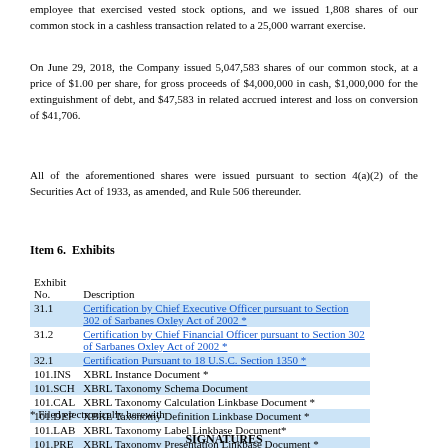employee that exercised vested stock options, and we issued 1,808 shares of our common stock in a cashless transaction related to a 25,000 warrant exercise.
On June 29, 2018, the Company issued 5,047,583 shares of our common stock, at a price of $1.00 per share, for gross proceeds of $4,000,000 in cash, $1,000,000 for the extinguishment of debt, and $47,583 in related accrued interest and loss on conversion of $41,706.
All of the aforementioned shares were issued pursuant to section 4(a)(2) of the Securities Act of 1933, as amended, and Rule 506 thereunder.
Item 6.  Exhibits
| Exhibit No. | Description |
| --- | --- |
| 31.1 | Certification by Chief Executive Officer pursuant to Section 302 of Sarbanes Oxley Act of 2002 * |
| 31.2 | Certification by Chief Financial Officer pursuant to Section 302 of Sarbanes Oxley Act of 2002 * |
| 32.1 | Certification Pursuant to 18 U.S.C. Section 1350 * |
| 101.INS | XBRL Instance Document * |
| 101.SCH | XBRL Taxonomy Schema Document |
| 101.CAL | XBRL Taxonomy Calculation Linkbase Document * |
| 101.DEF | XBRL Taxonomy Definition Linkbase Document * |
| 101.LAB | XBRL Taxonomy Label Linkbase Document* |
| 101.PRE | XBRL Taxonomy Presentation Linkbase Document * |
* Filed electronically herewith
SIGNATURES